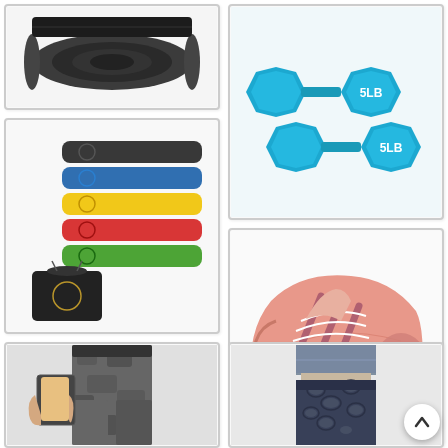[Figure (photo): Black yoga mat rolled up, shown from above on white background]
[Figure (photo): Two blue 5LB vinyl dumbbell weights on white background]
[Figure (photo): Set of 5 resistance loop bands in various colors (black, blue, yellow, red, green) with a black carrying bag]
[Figure (photo): Pink Adidas Ultraboost running shoe on white background]
[Figure (photo): Woman wearing dark camo print high-waist leggings with side pocket holding phone]
[Figure (photo): Woman wearing dark leopard print high-waist leggings, crop top view]